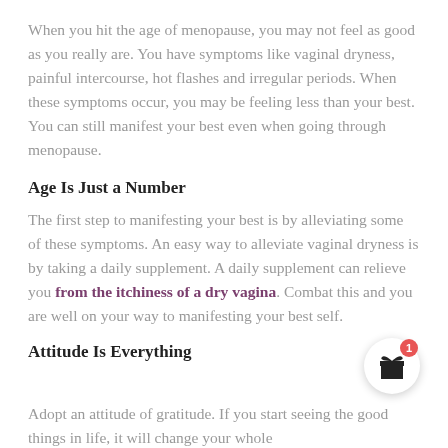When you hit the age of menopause, you may not feel as good as you really are. You have symptoms like vaginal dryness, painful intercourse, hot flashes and irregular periods. When these symptoms occur, you may be feeling less than your best. You can still manifest your best even when going through menopause.
Age Is Just a Number
The first step to manifesting your best is by alleviating some of these symptoms. An easy way to alleviate vaginal dryness is by taking a daily supplement. A daily supplement can relieve you from the itchiness of a dry vagina. Combat this and you are well on your way to manifesting your best self.
Attitude Is Everything
Adopt an attitude of gratitude. If you start seeing the good things in life, it will change your whole outlook on life. Above and beyond that,